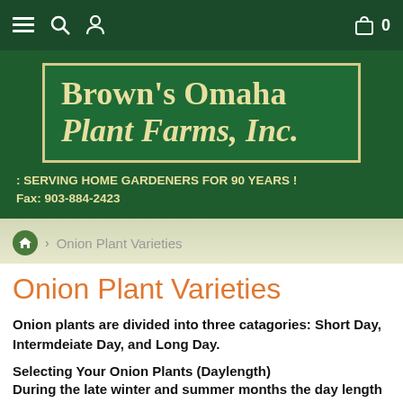Navigation bar with menu, search, user icons and cart (0)
[Figure (logo): Brown's Omaha Plant Farms, Inc. logo — dark green background with cream/gold serif text inside a bordered rectangle]
: SERVING HOME GARDENERS FOR 90 YEARS ! Fax: 903-884-2423
Home > Onion Plant Varieties
Onion Plant Varieties
Onion plants are divided into three catagories: Short Day, Intermdeiate Day, and Long Day.
Selecting Your Onion Plants (Daylength)